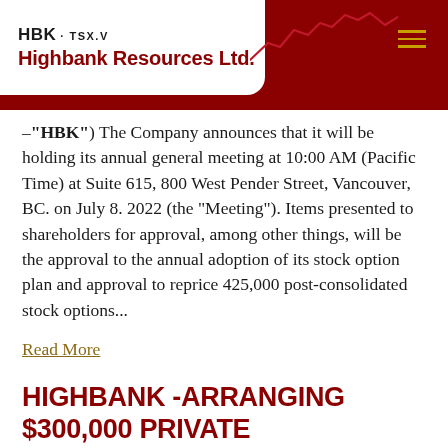[Figure (logo): Highbank Resources Ltd. logo with HBK - TSX.V ticker, red background header with stock chart line graphic and hamburger menu icon]
–"HBK") The Company announces that it will be holding its annual general meeting at 10:00 AM (Pacific Time) at Suite 615, 800 West Pender Street, Vancouver, BC. on July 8. 2022 (the "Meeting"). Items presented to shareholders for approval, among other things, will be the approval to the annual adoption of its stock option plan and approval to reprice 425,000 post-consolidated stock options...
Read More
HIGHBANK -ARRANGING $300,000 PRIVATE PLACEMENT